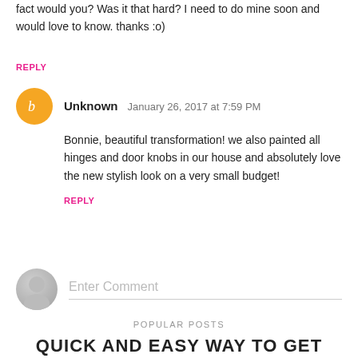fact would you? Was it that hard? I need to do mine soon and would love to know. thanks :o)
REPLY
Unknown  January 26, 2017 at 7:59 PM
Bonnie, beautiful transformation! we also painted all hinges and door knobs in our house and absolutely love the new stylish look on a very small budget!
REPLY
Enter Comment
POPULAR POSTS
QUICK AND EASY WAY TO GET